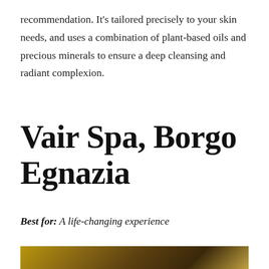recommendation. It's tailored precisely to your skin needs, and uses a combination of plant-based oils and precious minerals to ensure a deep cleansing and radiant complexion.
Vair Spa, Borgo Egnazia
Best for: A life-changing experience
[Figure (photo): Interior photo of Vair Spa at Borgo Egnazia, showing warm golden lighting and spa facilities]